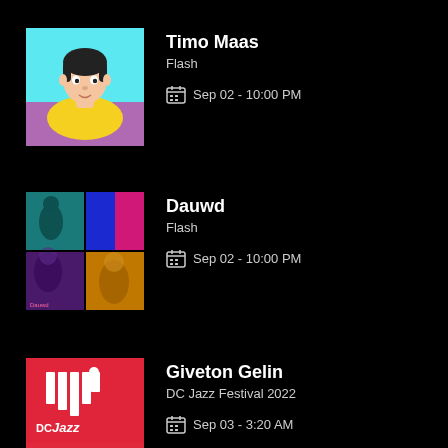[Figure (illustration): Illustrated portrait of Timo Maas on cyan/blue background with purple bottom and yellow shape]
Timo Maas
Flash
Sep 02 - 10:00 PM
[Figure (photo): Concert photo collage of Dauwd in 4 quadrants: teal/blue/pink/orange lighting]
Dauwd
Flash
Sep 02 - 10:00 PM
[Figure (logo): DC Jazz Festival 2022 logo on red background with white bar/pillar icons and DC Jazz text]
Giveton Gelin
DC Jazz Festival 2022
Sep 03 - 3:20 AM